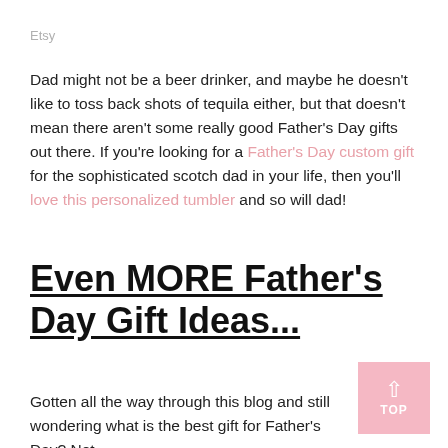Etsy
Dad might not be a beer drinker, and maybe he doesn't like to toss back shots of tequila either, but that doesn't mean there aren't some really good Father's Day gifts out there. If you're looking for a Father's Day custom gift for the sophisticated scotch dad in your life, then you'll love this personalized tumbler and so will dad!
Even MORE Father's Day Gift Ideas...
Gotten all the way through this blog and still wondering what is the best gift for Father's Day? Not